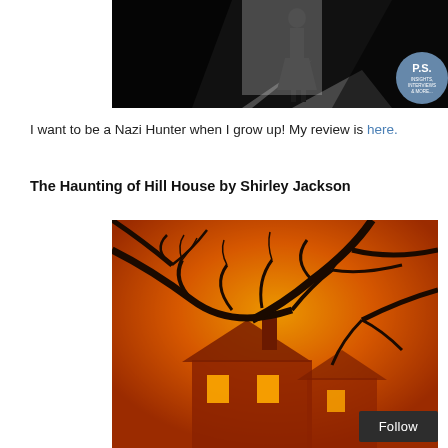[Figure (photo): Book cover image showing a dark silhouette of a person standing in a doorway, black and white, with a P.S. badge (Insights, Interviews & More) in the lower right corner]
I want to be a Nazi Hunter when I grow up! My review is here.
The Haunting of Hill House by Shirley Jackson
[Figure (photo): Book cover of The Haunting of Hill House showing a gothic house with bare tree branches against an orange/amber dramatic sky]